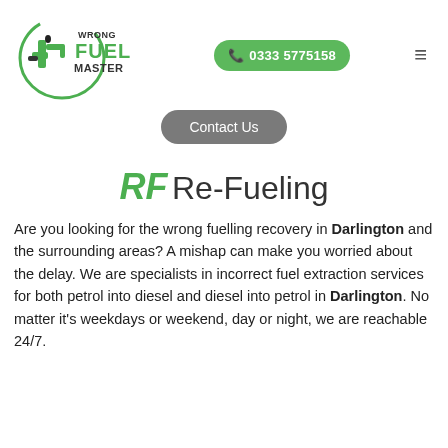[Figure (logo): Wrong Fuel Master logo with green fuel pump nozzle icon and circular swoosh, text reads WRONG FUEL MASTER]
0333 5775158
Contact Us
RF Re-Fueling
Are you looking for the wrong fuelling recovery in Darlington and the surrounding areas? A mishap can make you worried about the delay. We are specialists in incorrect fuel extraction services for both petrol into diesel and diesel into petrol in Darlington. No matter it's weekdays or weekend, day or night, we are reachable 24/7.